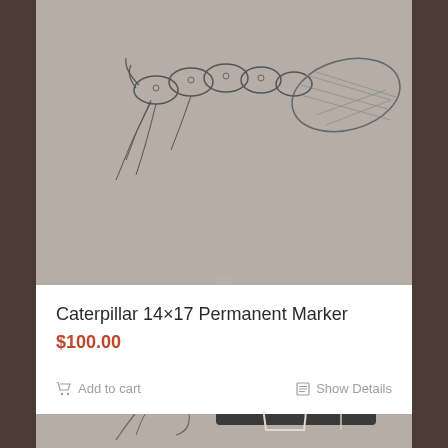[Figure (illustration): Pencil/charcoal drawing of a caterpillar with detailed wing-like leaf structure on gray paper background]
Caterpillar 14×17 Permanent Marker
$100.00
Add to cart
Show Details
[Figure (illustration): Pencil/charcoal drawing on gray paper showing a hand with fingers raised and a small flower or plant, with dark rectangular background element]